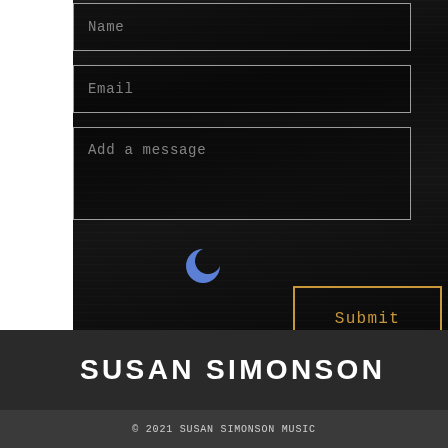[Figure (screenshot): Web contact form with Name, Email, and Add a message input fields on dark wood textured background]
[Figure (other): Blue crescent/loading spinner icon]
Submit
SUSAN SIMONSON
© 2021 SUSAN SIMONSON MUSIC